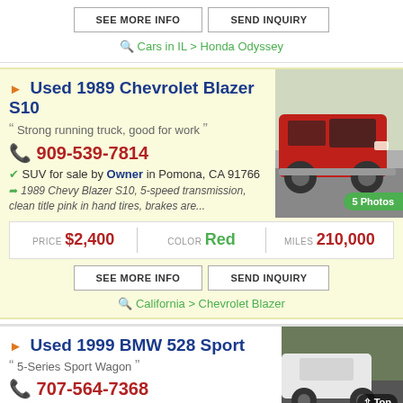SEE MORE INFO  |  SEND INQUIRY
Cars in IL > Honda Odyssey
Used 1989 Chevrolet Blazer S10
Strong running truck, good for work
909-539-7814
SUV for sale by Owner in Pomona, CA 91766
1989 Chevy Blazer S10, 5-speed transmission, clean title pink in hand tires, brakes are...
[Figure (photo): Red 1989 Chevrolet Blazer S10 SUV parked outdoors, side/front view]
5 Photos
| PRICE | COLOR | MILES |
| --- | --- | --- |
| $2,400 | Red | 210,000 |
SEE MORE INFO  |  SEND INQUIRY
California > Chevrolet Blazer
Used 1999 BMW 528 Sport
5-Series Sport Wagon
707-564-7368
[Figure (photo): White BMW 528 Sport partial view]